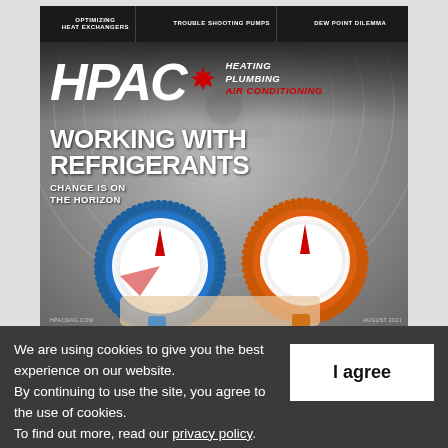[Figure (photo): Cover of HPAC (Heating Plumbing Air Conditioning) magazine. Top black bar with section headers: 'OPTIMIZING HEAT EXCHANGERS', 'TROUBLE SHOOTING PUMPS', 'DEW POINT DILEMMA'. HPAC logo in large white italic letters with Canadian maple leaf icon and subtitle 'HEATING PLUMBING AIR CONDITIONING'. Background shows HVAC fan grille. Foreground shows hands holding blue and orange refrigerant pressure gauges. Headline reads 'WORKING WITH REFRIGERANTS' with subhead 'CHANGE IS ON THE HORIZON'.]
We are using cookies to give you the best experience on our website.
By continuing to use the site, you agree to the use of cookies.
To find out more, read our privacy policy.